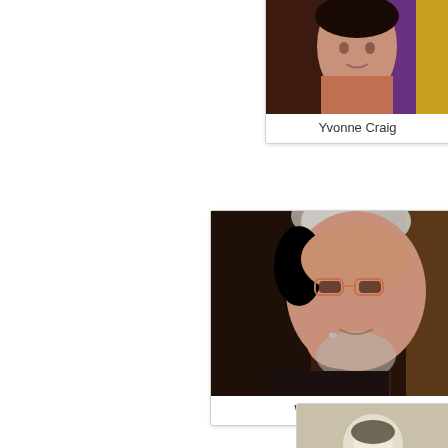[Figure (photo): Partial photo of Yvonne Craig, cropped at top, showing colorful background]
Yvonne Craig
[Figure (photo): Portrait photo of Wes Craven, an older man with grey hair and beard, resting his chin on his hand, wearing glasses and a dark top]
Wes Craven
[Figure (photo): Partial photo at bottom of page, cropped, black and white or sepia toned]